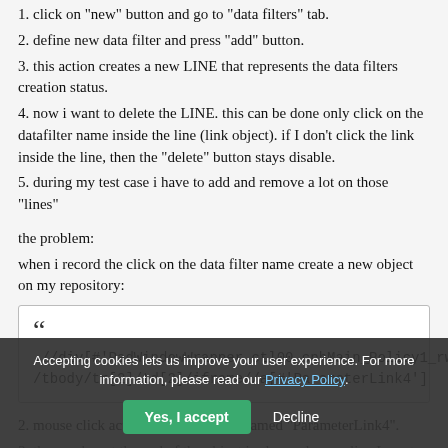1. click on "new" button and go to "data filters" tab.
2. define new data filter and press "add" button.
3. this action creates a new LINE that represents the data filters creation status.
4. now i want to delete the LINE. this can be done only click on the datafilter name inside the line (link object). if I don't click the link inside the line, then the "delete" button stays disable.
5. during my test case i have to add and remove a lot on those "lines"
the problem:
when i record the click on the data filter name create a new object on my repository:
[Figure (other): Blockquote box containing XPath: .//div[#'RadWindowWrapper_ctl00_cphMain_Policy1_rwRule']/table/tbody/tr[2]/td[2]/iframe//a[#'ParameterLink4']]
2. mouse click action refers to object named "ParameterLink4".
3. the number at the end of the object is changed every line I create. so actually the recorder cannot identify this object so I get "object not found" message...
what are the other options to identify such "slippery" object??
Accepting cookies lets us improve your user experience. For more information, please read our Privacy Policy.